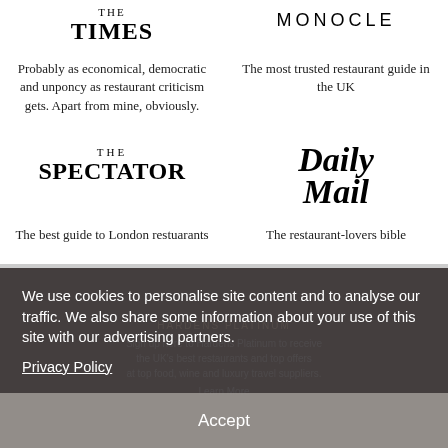[Figure (logo): The Times newspaper logo]
Probably as economical, democratic and unponcy as restaurant criticism gets. Apart from mine, obviously.
[Figure (logo): Monocle magazine logo]
The most trusted restaurant guide in the UK
[Figure (logo): The Spectator magazine logo]
The best guide to London restuarants
[Figure (logo): Daily Mail newspaper logo]
The restaurant-lovers bible
We use cookies to personalise site content and to analyse our traffic. We also share some information about your use of this site with our advertising partners.
Privacy Policy
Accept